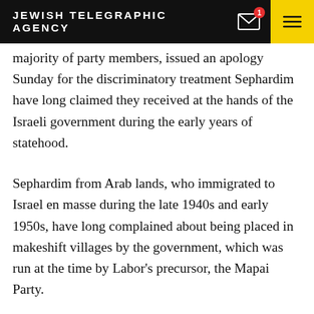JEWISH TELEGRAPHIC AGENCY
majority of party members, issued an apology Sunday for the discriminatory treatment Sephardim have long claimed they received at the hands of the Israeli government during the early years of statehood.
Sephardim from Arab lands, who immigrated to Israel en masse during the late 1940s and early 1950s, have long complained about being placed in makeshift villages by the government, which was run at the time by Labor's precursor, the Mapai Party.
Many Sephardi immigrants were eventually resettled in development towns on Israel's borders and in the N…